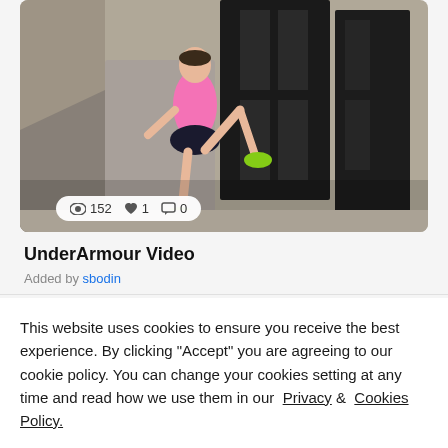[Figure (photo): A woman in a pink tank top and black skirt doing a high kick or stretch near a building entrance with large dark doors. She wears green sneakers. Stats bar shows eye icon 152, heart icon 1, comment icon 0.]
UnderArmour Video
Added by sbodin
This website uses cookies to ensure you receive the best experience. By clicking "Accept" you are agreeing to our cookie policy. You can change your cookies setting at any time and read how we use them in our Privacy & Cookies Policy.
Accept  Learn more